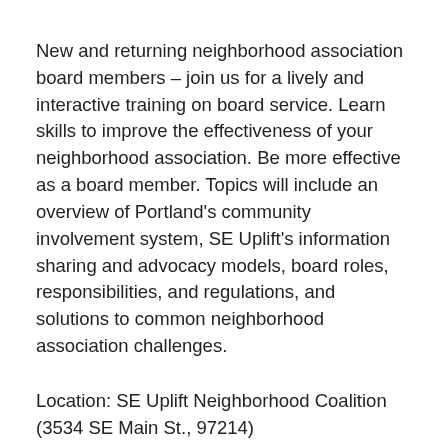New and returning neighborhood association board members – join us for a lively and interactive training on board service. Learn skills to improve the effectiveness of your neighborhood association. Be more effective as a board member. Topics will include an overview of Portland's community involvement system, SE Uplift's information sharing and advocacy models, board roles, responsibilities, and regulations, and solutions to common neighborhood association challenges.
Location: SE Uplift Neighborhood Coalition (3534 SE Main St., 97214)
Date: June 22nd, 2017
Time: 6:15 ... to 8:30 ...